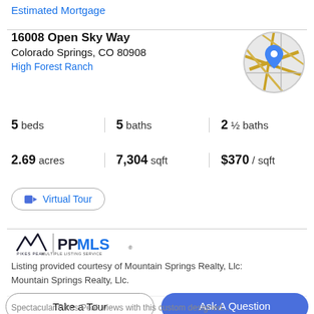Estimated Mortgage
16008 Open Sky Way
Colorado Springs, CO 80908
High Forest Ranch
[Figure (map): Circular map thumbnail with location pin marker over Colorado Springs area]
5 beds | 5 baths | 2 ½ baths
2.69 acres | 7,304 sqft | $370 / sqft
Virtual Tour
[Figure (logo): Pikes Peak Multiple Listing Service (PPMLS) logo with mountain peaks icon]
Listing provided courtesy of Mountain Springs Realty, Llc: Mountain Springs Realty, Llc.
Take a Tour
Ask A Question
Spectacular Pikes Peak views with this custom designed...